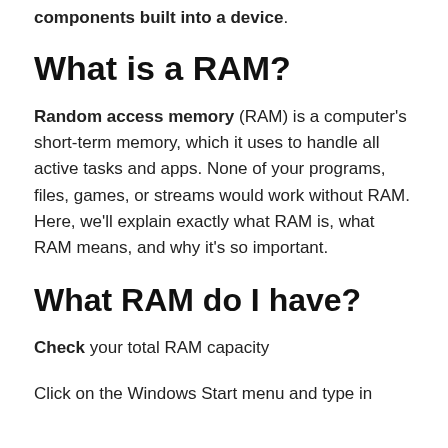components built into a device.
What is a RAM?
Random access memory (RAM) is a computer's short-term memory, which it uses to handle all active tasks and apps. None of your programs, files, games, or streams would work without RAM. Here, we'll explain exactly what RAM is, what RAM means, and why it's so important.
What RAM do I have?
Check your total RAM capacity
Click on the Windows Start menu and type in